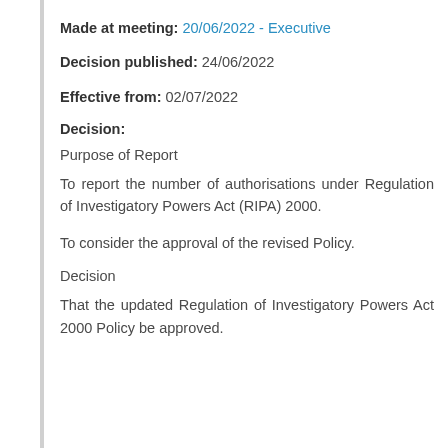Made at meeting: 20/06/2022 - Executive
Decision published: 24/06/2022
Effective from: 02/07/2022
Decision:
Purpose of Report
To report the number of authorisations under Regulation of Investigatory Powers Act (RIPA) 2000.
To consider the approval of the revised Policy.
Decision
That the updated Regulation of Investigatory Powers Act 2000 Policy be approved.